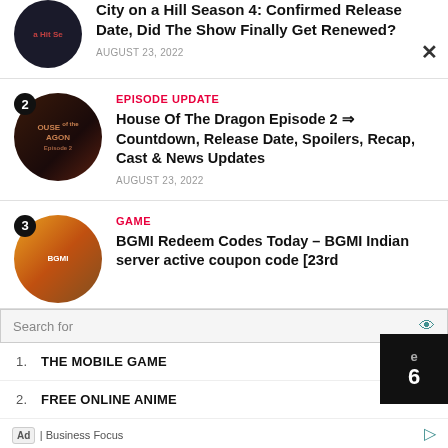City on a Hill Season 4: Confirmed Release Date, Did The Show Finally Get Renewed?
AUGUST 23, 2022
EPISODE UPDATE
House Of The Dragon Episode 2 ⇒ Countdown, Release Date, Spoilers, Recap, Cast & News Updates
AUGUST 23, 2022
GAME
BGMI Redeem Codes Today – BGMI Indian server active coupon code [23rd
Search for
1. THE MOBILE GAME
2. FREE ONLINE ANIME
Ad | Business Focus